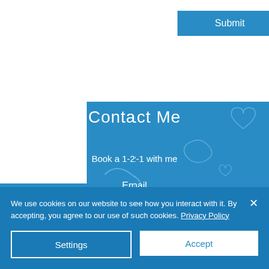[Figure (screenshot): Blue website background with decorative hand-drawn doodle overlays]
Submit
Contact Me
Book a 1-2-1 with me
Email
hello@richardworsfold.design
Telephone
07818 424 307
We use cookies on our website to see how you interact with it. By accepting, you agree to our use of such cookies. Privacy Policy
Settings
Accept